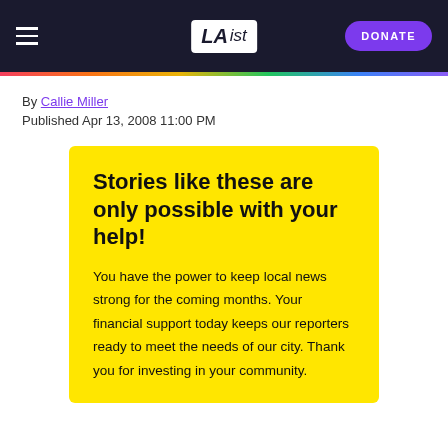LAist | DONATE
By Callie Miller
Published Apr 13, 2008 11:00 PM
Stories like these are only possible with your help!
You have the power to keep local news strong for the coming months. Your financial support today keeps our reporters ready to meet the needs of our city. Thank you for investing in your community.